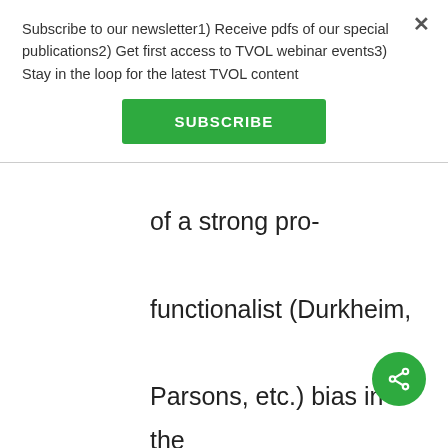Subscribe to our newsletter1) Receive pdfs of our special publications2) Get first access to TVOL webinar events3) Stay in the loop for the latest TVOL content
SUBSCRIBE
of a strong pro-functionalist (Durkheim, Parsons, etc.) bias in the evo-institute, neglecting a fundamental aspect of sociology, i.e. questions of power and competing group interests?